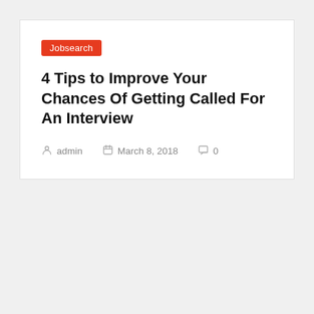Jobsearch
4 Tips to Improve Your Chances Of Getting Called For An Interview
admin   March 8, 2018   0